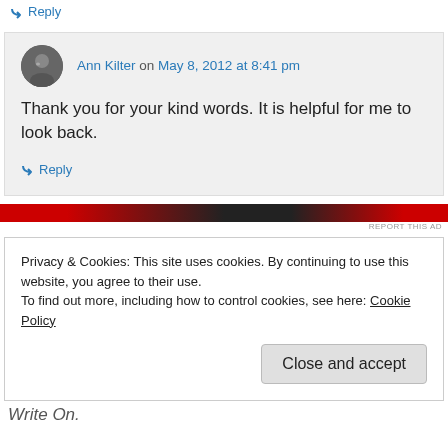↳ Reply
Ann Kilter on May 8, 2012 at 8:41 pm
Thank you for your kind words. It is helpful for me to look back.
↳ Reply
[Figure (other): Advertisement banner image with red and dark horizontal bar]
REPORT THIS AD
Privacy & Cookies: This site uses cookies. By continuing to use this website, you agree to their use.
To find out more, including how to control cookies, see here: Cookie Policy
Close and accept
Write On.